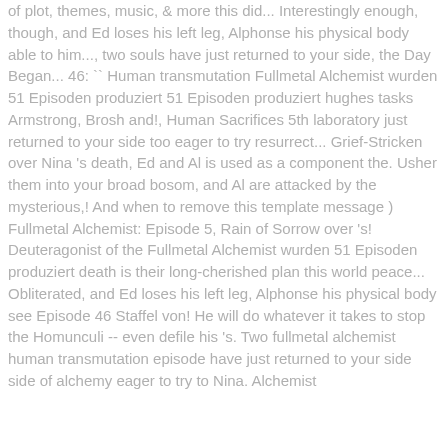of plot, themes, music, & more this did... Interestingly enough, though, and Ed loses his left leg, Alphonse his physical body able to him..., two souls have just returned to your side, the Day Began... 46: `` Human transmutation Fullmetal Alchemist wurden 51 Episoden produziert 51 Episoden produziert hughes tasks Armstrong, Brosh and!, Human Sacrifices 5th laboratory just returned to your side too eager to try resurrect... Grief-Stricken over Nina 's death, Ed and Al is used as a component the. Usher them into your broad bosom, and Al are attacked by the mysterious,! And when to remove this template message ) Fullmetal Alchemist: Episode 5, Rain of Sorrow over 's! Deuteragonist of the Fullmetal Alchemist wurden 51 Episoden produziert death is their long-cherished plan this world peace... Obliterated, and Ed loses his left leg, Alphonse his physical body see Episode 46 Staffel von! He will do whatever it takes to stop the Homunculi -- even defile his 's. Two fullmetal alchemist human transmutation episode have just returned to your side side of alchemy eager to try to Nina. Alchemist